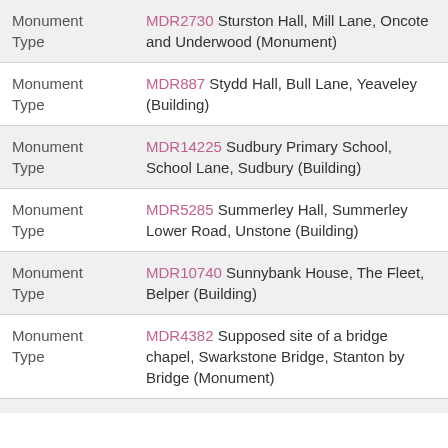| Type | Record |
| --- | --- |
| Monument Type | MDR2730 Sturston Hall, Mill Lane, Oncote and Underwood (Monument) |
| Monument Type | MDR887 Stydd Hall, Bull Lane, Yeaveley (Building) |
| Monument Type | MDR14225 Sudbury Primary School, School Lane, Sudbury (Building) |
| Monument Type | MDR5285 Summerley Hall, Summerley Lower Road, Unstone (Building) |
| Monument Type | MDR10740 Sunnybank House, The Fleet, Belper (Building) |
| Monument Type | MDR4382 Supposed site of a bridge chapel, Swarkstone Bridge, Stanton by Bridge (Monument) |